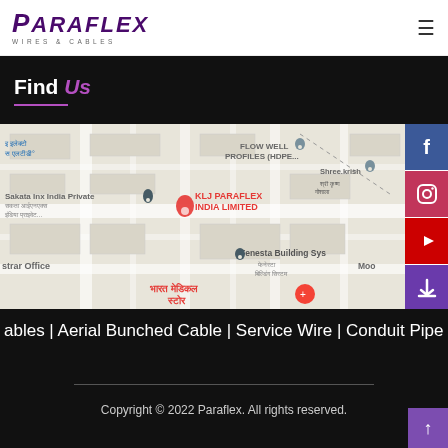PARAFLEX WIRES & CABLES — navigation header with hamburger menu
Find Us
[Figure (map): Google Maps screenshot showing KLJ PARAFLEX INDIA LIMITED location with surrounding businesses: Sakata Inx India Private, FLOW WELL PROFILES (HDPE...), Shree.krish..., Fenesta Building Sys..., strar Office, Moo... and Hindi text for various locations. Red pin marker on KLJ PARAFLEX INDIA LIMITED.]
Facebook social media link
Instagram social media link
YouTube social media link
Download link
ables | Aerial Bunched Cable | Service Wire | Conduit Pipe
Copyright © 2022 Paraflex. All rights reserved.